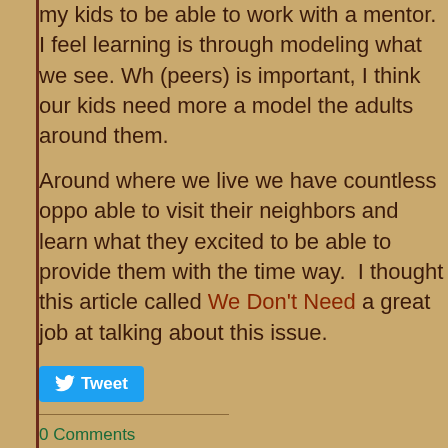my kids to be able to work with a mentor. I feel learning is through modeling what we see. While (peers) is important, I think our kids need more a model the adults around them.
Around where we live we have countless opportunities to be able to visit their neighbors and learn what they do. I am excited to be able to provide them with the time to learn this way. I thought this article called We Don't Need a great job at talking about this issue.
Tweet
0 Comments
Learn Free Video
10/18/2010